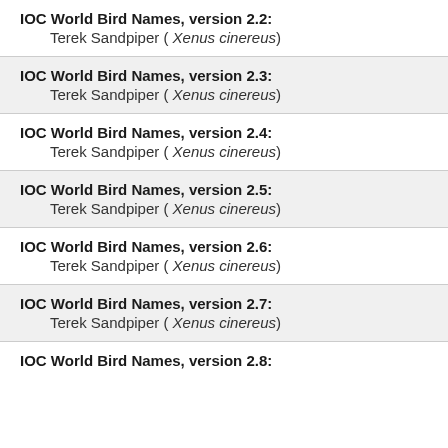IOC World Bird Names, version 2.2: Terek Sandpiper ( Xenus cinereus)
IOC World Bird Names, version 2.3: Terek Sandpiper ( Xenus cinereus)
IOC World Bird Names, version 2.4: Terek Sandpiper ( Xenus cinereus)
IOC World Bird Names, version 2.5: Terek Sandpiper ( Xenus cinereus)
IOC World Bird Names, version 2.6: Terek Sandpiper ( Xenus cinereus)
IOC World Bird Names, version 2.7: Terek Sandpiper ( Xenus cinereus)
IOC World Bird Names, version 2.8: